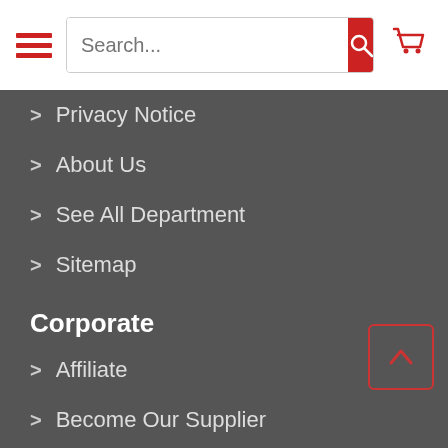Search...
> Privacy Notice
> About Us
> See All Department
> Sitemap
Corporate
> Affiliate
> Become Our Supplier
> Blog
Help
> Purchase Order
> Terms of Use
> Shipping & Return